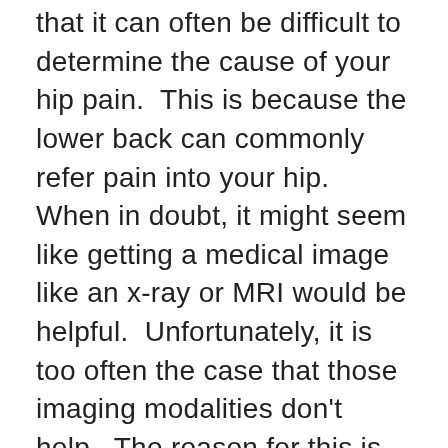that it can often be difficult to determine the cause of your hip pain.  This is because the lower back can commonly refer pain into your hip.  When in doubt, it might seem like getting a medical image like an x-ray or MRI would be helpful.  Unfortunately, it is too often the case that those imaging modalities don't help.  The reason for this is somewhat unexpected – it is common for people to have imaging findings in both the lower back¹and the hip²while still being pain-free!  Instead, it makes sense to do a physical examination of the hip and regions that can refer into the hip in order to determine